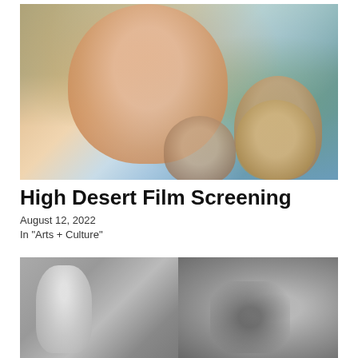[Figure (photo): Film poster or promotional image showing a close-up of a woman's face in warm tones with forest background, and three people below including a man in a hat, a woman with a sun hat, and a man with long hair]
High Desert Film Screening
August 12, 2022
In "Arts + Culture"
[Figure (photo): Black and white photo showing a person standing near a rock formation or cave entrance, with another figure visible on the right side]